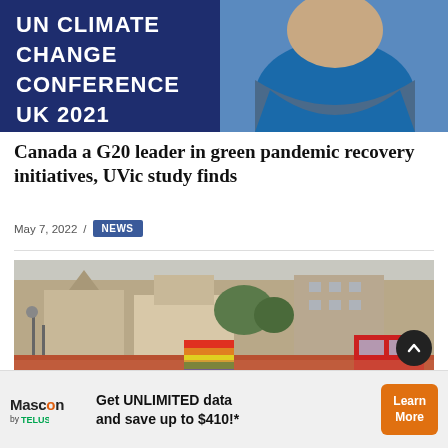[Figure (photo): Person in blue jacket standing in front of a blue banner reading 'UN CLIMATE CHANGE CONFERENCE UK 2021']
Canada a G20 leader in green pandemic recovery initiatives, UVic study finds
May 7, 2022 / NEWS
[Figure (photo): Large outdoor crowd gathered in a city square with rainbow pride flags, buildings visible in background]
Get UNLIMITED data and save up to $410!* — Mascon by TELUS — Learn More